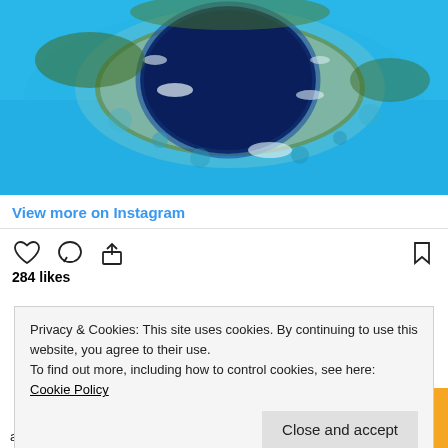[Figure (photo): Aerial view of the Great Blue Hole, Belize – a large dark circular marine sinkhole surrounded by a coral reef atoll and turquoise ocean water.]
View more on Instagram
[Figure (infographic): Instagram action icons: heart (like), speech bubble (comment), share arrow (upload), and bookmark icon on the right.]
284 likes
Privacy & Cookies: This site uses cookies. By continuing to use this website, you agree to their use.
To find out more, including how to control cookies, see here: Cookie Policy
Close and accept
around the island. Other, the spot is well-known for its scuba plunging